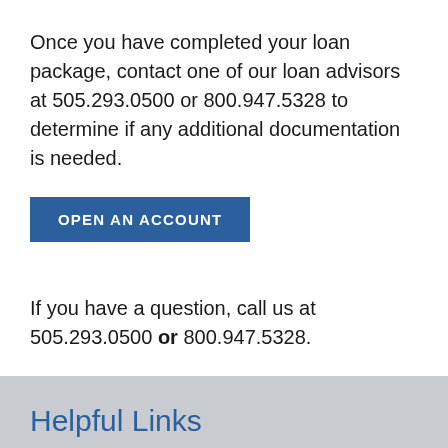Once you have completed your loan package, contact one of our loan advisors at 505.293.0500 or 800.947.5328 to determine if any additional documentation is needed.
OPEN AN ACCOUNT
If you have a question, call us at 505.293.0500 or 800.947.5328.
Helpful Links